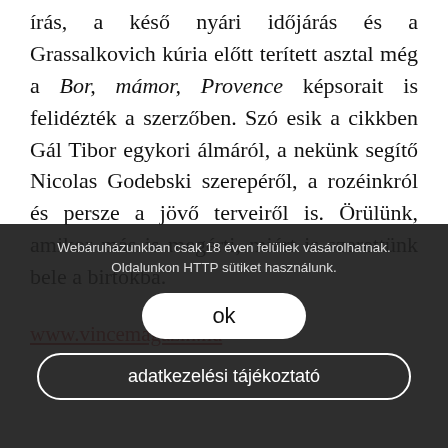írás, a késő nyári időjárás és a Grassalkovich kúria előtt terített asztal még a Bor, mámor, Provence képsorait is felidézték a szerzőben. Szó esik a cikkben Gál Tibor egykori álmáról, a nekünk segítő Nicolas Godebski szerepéről, a rozéinkról és persze a jövő terveiről is. Örülünk, amikor más is megérti, miért is szerettünk bele a birtokba.
www.vincemagazin.hu
Webáruházunkban csak 18 éven felüliek vásárolhatnak. Oldalunkon HTTP sütiket használunk.
ok
adatkezelési tájékoztató